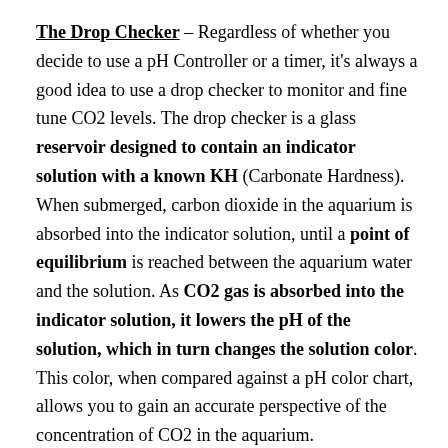The Drop Checker – Regardless of whether you decide to use a pH Controller or a timer, it's always a good idea to use a drop checker to monitor and fine tune CO2 levels. The drop checker is a glass reservoir designed to contain an indicator solution with a known KH (Carbonate Hardness). When submerged, carbon dioxide in the aquarium is absorbed into the indicator solution, until a point of equilibrium is reached between the aquarium water and the solution. As CO2 gas is absorbed into the indicator solution, it lowers the pH of the solution, which in turn changes the solution color. This color, when compared against a pH color chart, allows you to gain an accurate perspective of the concentration of CO2 in the aquarium.